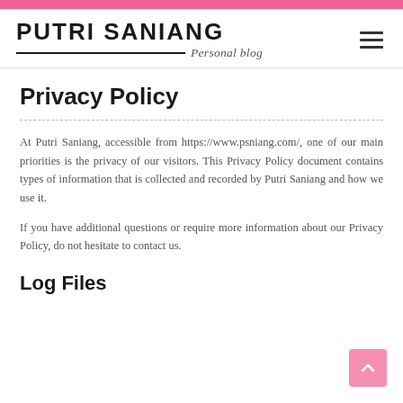PUTRI SANIANG — Personal blog
Privacy Policy
At Putri Saniang, accessible from https://www.psniang.com/, one of our main priorities is the privacy of our visitors. This Privacy Policy document contains types of information that is collected and recorded by Putri Saniang and how we use it.
If you have additional questions or require more information about our Privacy Policy, do not hesitate to contact us.
Log Files